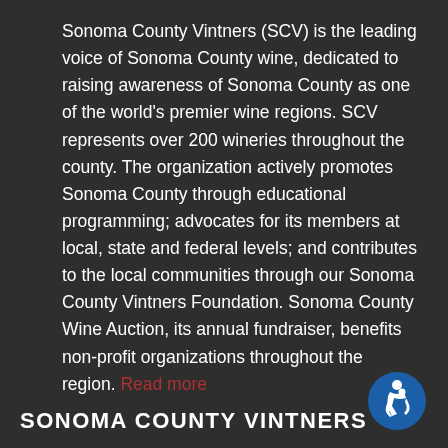Sonoma County Vintners (SCV) is the leading voice of Sonoma County wine, dedicated to raising awareness of Sonoma County as one of the world's premier wine regions. SCV represents over 200 wineries throughout the county. The organization actively promotes Sonoma County through educational programming; advocates for its members at local, state and federal levels; and contributes to the local communities through our Sonoma County Vintners Foundation. Sonoma County Wine Auction, its annual fundraiser, benefits non-profit organizations throughout the region. Read more
SONOMA COUNTY VINTNERS